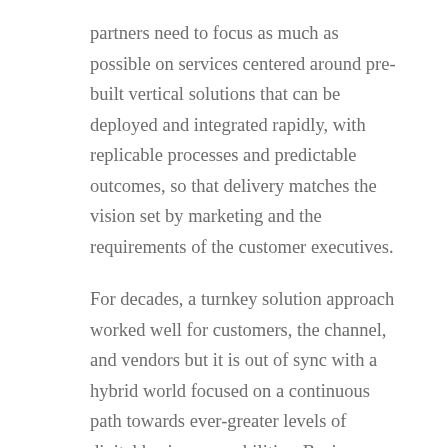partners need to focus as much as possible on services centered around pre-built vertical solutions that can be deployed and integrated rapidly, with replicable processes and predictable outcomes, so that delivery matches the vision set by marketing and the requirements of the customer executives.
For decades, a turnkey solution approach worked well for customers, the channel, and vendors but it is out of sync with a hybrid world focused on a continuous path towards ever-greater levels of digital business capabilities. Business users are not committing to static systems that manage defined tasks/processes; instead, they are building approaches that allow for incremental deployment of new capabilities that increase reach and efficiency. And this is where Cisco is heading with a book of